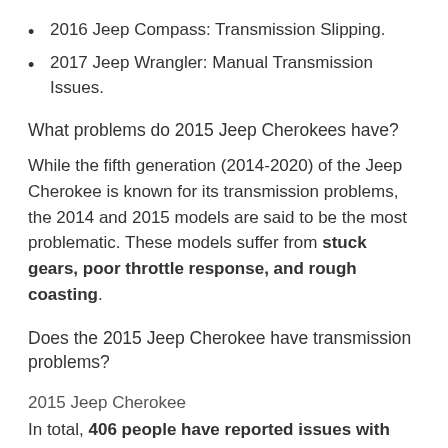2016 Jeep Compass: Transmission Slipping.
2017 Jeep Wrangler: Manual Transmission Issues.
What problems do 2015 Jeep Cherokees have?
While the fifth generation (2014-2020) of the Jeep Cherokee is known for its transmission problems, the 2014 and 2015 models are said to be the most problematic. These models suffer from stuck gears, poor throttle response, and rough coasting.
Does the 2015 Jeep Cherokee have transmission problems?
2015 Jeep Cherokee
In total, 406 people have reported issues with the transmission. The three major issues revolve around delayed shifting during acceleration, rough